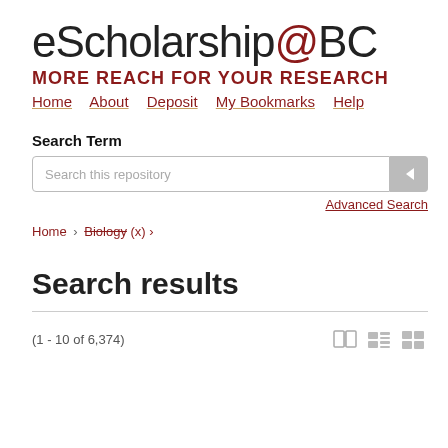eScholarship@BC MORE REACH FOR YOUR RESEARCH Home About Deposit My Bookmarks Help
Search Term
Search this repository
Advanced Search
Home › Biology (x) ›
Search results
(1 - 10 of 6,374)